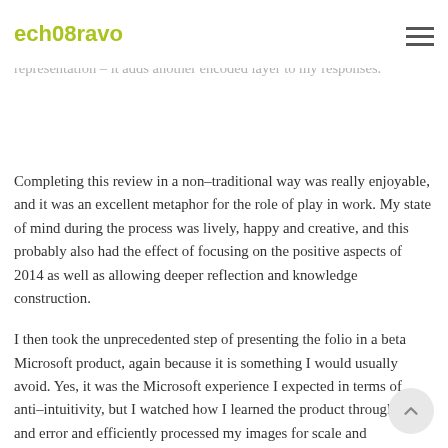ech08ravo
ego representations and something I hadn't expected was how nuanced I could be with the visual representation – it adds another encoded layer to my responses.
Completing this review in a non-traditional way was really enjoyable, and it was an excellent metaphor for the role of play in work. My state of mind during the process was lively, happy and creative, and this probably also had the effect of focusing on the positive aspects of 2014 as well as allowing deeper reflection and knowledge construction.
I then took the unprecedented step of presenting the folio in a beta Microsoft product, again because it is something I would usually avoid. Yes, it was the Microsoft experience I expected in terms of anti-intuitivity, but I watched how I learned the product through trial and error and efficiently processed my images for scale and consistency with ancient production-line skills not yet dormant. Unsurprisingly, the output was both inflexible and mangled, so I chalked that up to experience and quickly processed the same text and images in PowerPoint *sigh*.
At its heart, this is 'gamification', where self-organisation occurs